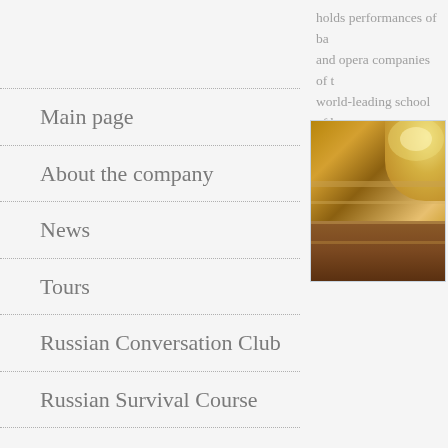holds performances of ballet and opera companies of the world-leading school of ba...
Main page
About the company
News
Tours
Russian Conversation Club
Russian Survival Course
Theatre Club
Your guide in St Petersburg
[Figure (photo): Interior of a theatre or opera house showing ornate gold decoration and chandelier]